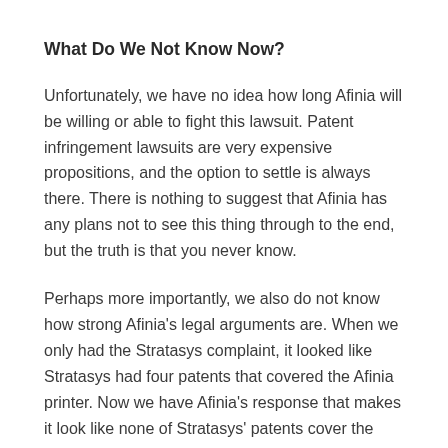What Do We Not Know Now?
Unfortunately, we have no idea how long Afinia will be willing or able to fight this lawsuit.  Patent infringement lawsuits are very expensive propositions, and the option to settle is always there.  There is nothing to suggest that Afinia has any plans not to see this thing through to the end, but the truth is that you never know.
Perhaps more importantly, we also do not know how strong Afinia's legal arguments are.  When we only had the Stratasys complaint, it looked like Stratasys had four patents that covered the Afinia printer.  Now we have Afinia's response that makes it look like none of Stratasys' patents cover the Afinia printer (or are even valid).  Going forward, the arguments of both sides will be tested.  Hopefully that